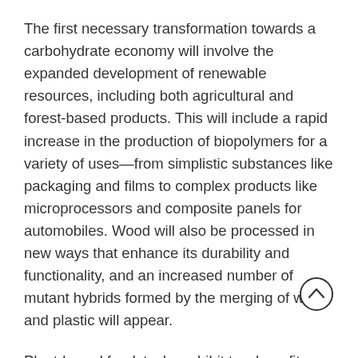The first necessary transformation towards a carbohydrate economy will involve the expanded development of renewable resources, including both agricultural and forest-based products. This will include a rapid increase in the production of biopolymers for a variety of uses—from simplistic substances like packaging and films to complex products like microprocessors and composite panels for automobiles. Wood will also be processed in new ways that enhance its durability and functionality, and an increased number of mutant hybrids formed by the merging of wood and plastic will appear.
Plant-based feedstocks exhibit two benefits over other renewable resources: biomass is a natural store of energy and carbon, and it can be made into tangible products. However, significant challenges impede the rapid industrialization of biomass resources, including increased